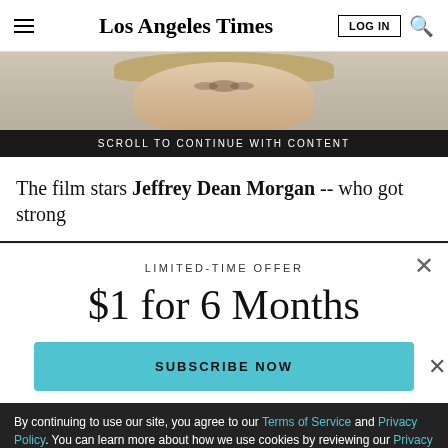Los Angeles Times
[Figure (photo): Close-up photo of a blonde woman's face, cropped to show eyes and forehead]
SCROLL TO CONTINUE WITH CONTENT
The film stars Jeffrey Dean Morgan -- who got strong
LIMITED-TIME OFFER
$1 for 6 Months
SUBSCRIBE NOW
By continuing to use our site, you agree to our Terms of Service and Privacy Policy. You can learn more about how we use cookies by reviewing our Privacy Policy. Close